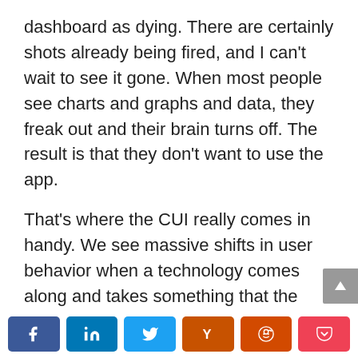dashboard as dying. There are certainly shots already being fired, and I can't wait to see it gone. When most people see charts and graphs and data, they freak out and their brain turns off. The result is that they don't want to use the app.
That's where the CUI really comes in handy. We see massive shifts in user behavior when a technology comes along and takes something that the geeks think is easy to do, and everyone else finds